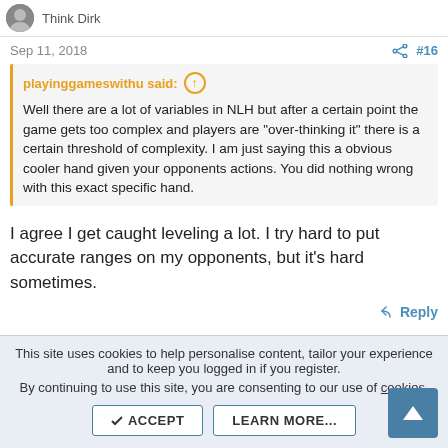Think Dirk
Sep 11, 2018  #16
playinggameswithu said: ↑

Well there are a lot of variables in NLH but after a certain point the game gets too complex and players are "over-thinking it" there is a certain threshold of complexity. I am just saying this a obvious cooler hand given your opponents actions. You did nothing wrong with this exact specific hand.
I agree I get caught leveling a lot. I try hard to put accurate ranges on my opponents, but it's hard sometimes.
↩ Reply
This site uses cookies to help personalise content, tailor your experience and to keep you logged in if you register.
By continuing to use this site, you are consenting to our use of cookies.
ACCEPT   LEARN MORE...